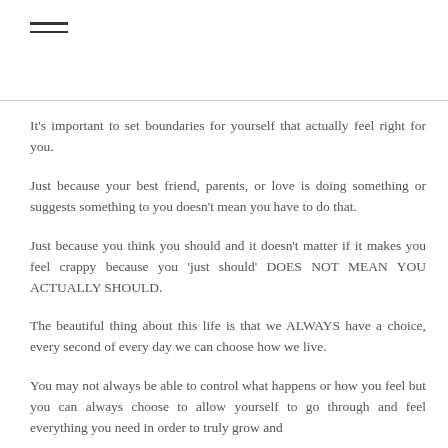[Figure (other): Hamburger menu icon with three horizontal lines]
It's important to set boundaries for yourself that actually feel right for you.
Just because your best friend, parents, or love is doing something or suggests something to you doesn't mean you have to do that.
Just because you think you should and it doesn't matter if it makes you feel crappy because you 'just should' DOES NOT MEAN YOU ACTUALLY SHOULD.
The beautiful thing about this life is that we ALWAYS have a choice, every second of every day we can choose how we live.
You may not always be able to control what happens or how you feel but you can always choose to allow yourself to go through and feel everything you need in order to truly grow and